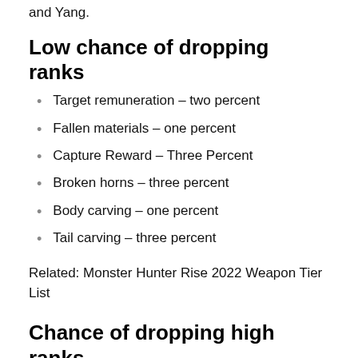and Yang.
Low chance of dropping ranks
Target remuneration – two percent
Fallen materials – one percent
Capture Reward – Three Percent
Broken horns – three percent
Body carving – one percent
Tail carving – three percent
Related: Monster Hunter Rise 2022 Weapon Tier List
Chance of dropping high ranks